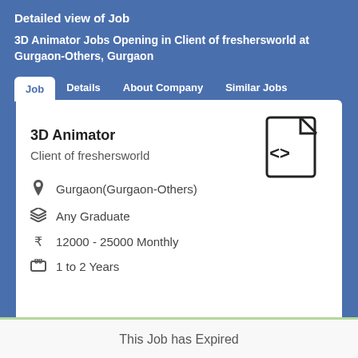Detailed view of Job
3D Animator Jobs Opening in Client of freshersworld at Gurgaon-Others, Gurgaon
Job  Details  About Company  Similar Jobs
3D Animator
Client of freshersworld
Gurgaon(Gurgaon-Others)
Any Graduate
12000 - 25000 Monthly
1 to 2 Years
This Job has Expired